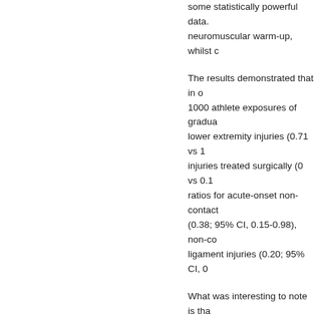some statistically powerful data. neuromuscular warm-up, whilst c
The results demonstrated that in 1000 athlete exposures of gradua lower extremity injuries (0.71 vs 1 injuries treated surgically (0 vs 0.1 ratios for acute-onset non-contact (0.38; 95% CI, 0.15-0.98), non-co ligament injuries (0.20; 95% CI, 0
What was interesting to note is tha (which the authors suggest might because the older, overweight & l demonstrate themselves.  This un our coaches to lead warm-up sess demonstrating to & reviewing how
Have a read through of the paper
LaBella, C. et al (2011). Effect of Urban Public High Schools: Clust no 165, vol 11: p 1033 - 1040
<< Back to list
<< Newer Post
blog comments powered by Dis